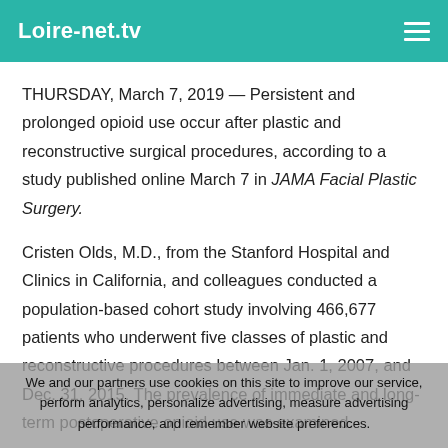Loire-net.tv
THURSDAY, March 7, 2019 — Persistent and prolonged opioid use occur after plastic and reconstructive surgical procedures, according to a study published online March 7 in JAMA Facial Plastic Surgery.
Cristen Olds, M.D., from the Stanford Hospital and Clinics in California, and colleagues conducted a population-based cohort study involving 466,677 patients who underwent five classes of plastic and reconstructive procedures between Jan. 1, 2007, and Dec. 31, 2015. The prevalence of immediate and long-term postoperative opioid use was examined.
The researchers found that 54.6 percent of the patients filled prescriptions for postoperative analgesics; opioids accounted for 91.5 percent of the analgesic prescriptions filled. In 6.6 and
We and our partners use cookies on this site to improve our service, perform analytics, personalize advertising, measure advertising performance, and remember website preferences.